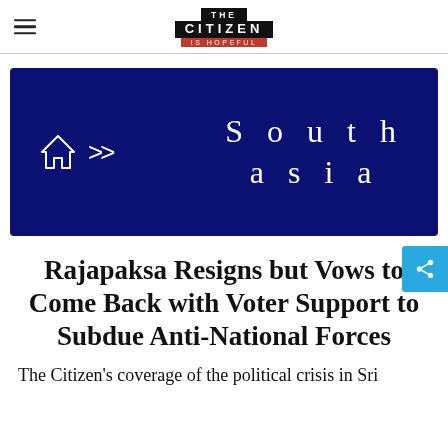THE CITIZEN IS HOPEFUL
[Figure (other): Dark navy blue banner with home icon, chevron arrows, and large spaced text reading 'South asia']
Rajapaksa Resigns but Vows to Come Back with Voter Support to Subdue Anti-National Forces
The Citizen's coverage of the political crisis in Sri